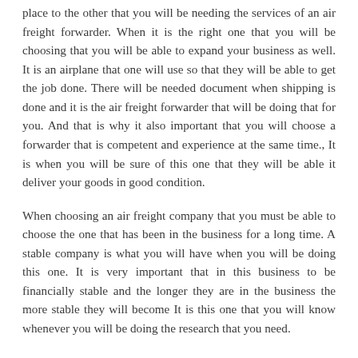place to the other that you will be needing the services of an air freight forwarder. When it is the right one that you will be choosing that you will be able to expand your business as well. It is an airplane that one will use so that they will be able to get the job done. There will be needed document when shipping is done and it is the air freight forwarder that will be doing that for you. And that is why it also important that you will choose a forwarder that is competent and experience at the same time., It is when you will be sure of this one that they will be able it deliver your goods in good condition.
When choosing an air freight company that you must be able to choose the one that has been in the business for a long time. A stable company is what you will have when you will be doing this one. It is very important that in this business to be financially stable and the longer they are in the business the more stable they will become It is this one that you will know whenever you will be doing the research that you need.